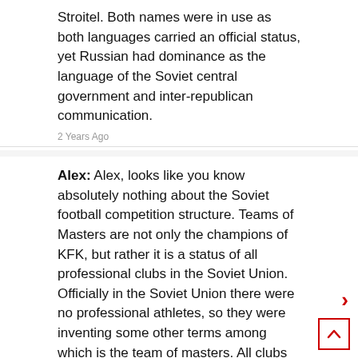Stroitel. Both names were in use as both languages carried an official status, yet Russian had dominance as the language of the Soviet central government and inter-republican communication.
2 Years Ago
Alex: Alex, looks like you know absolutely nothing about the Soviet football competition structure. Teams of Masters are not only the champions of KFK, but rather it is a status of all professional clubs in the Soviet Union. Officially in the Soviet Union there were no professional athletes, so they were inventing some other terms among which is the team of masters. All clubs in the Soviet competitions in Top, First and Second leagues all were teams of masters, amateur teams were known as fitness collectives (or collective of physical culture). Competitions among KFK teams were organized and administered exclusively by their respective union republic where they were located. All 15 union republics were conducting their own individual KFK competitions and their winner may or not has been